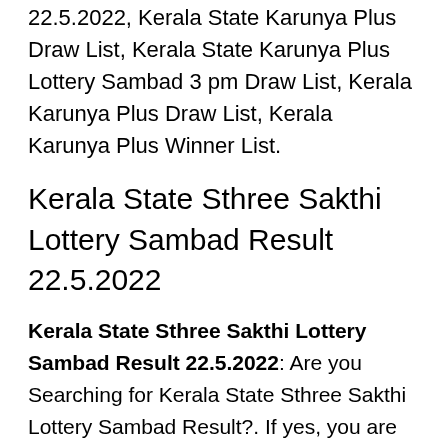22.5.2022, Kerala State Karunya Plus Draw List, Kerala State Karunya Plus Lottery Sambad 3 pm Draw List, Kerala Karunya Plus Draw List, Kerala Karunya Plus Winner List.
Kerala State Sthree Sakthi Lottery Sambad Result 22.5.2022
Kerala State Sthree Sakthi Lottery Sambad Result 22.5.2022: Are you Searching for Kerala State Sthree Sakthi Lottery Sambad Result?. If yes, you are on the right webpage. Here is below you can find the Kerala State Sthree Sakthi Lottery Sambad Result 22.5.2022. Kerala State Lotteries used to